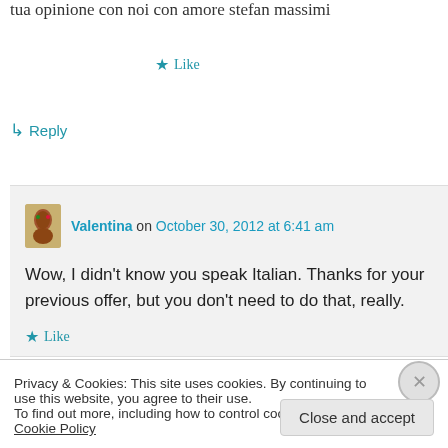tua opinione con noi con amore stefan massimi
★ Like
↳ Reply
Valentina on October 30, 2012 at 6:41 am
Wow, I didn't know you speak Italian. Thanks for your previous offer, but you don't need to do that, really.
★ Like
Privacy & Cookies: This site uses cookies. By continuing to use this website, you agree to their use.
To find out more, including how to control cookies, see here: Cookie Policy
Close and accept